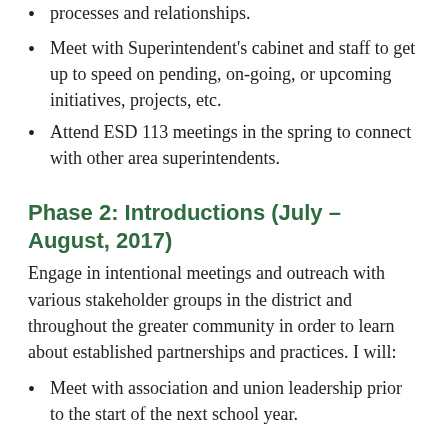processes and relationships.
Meet with Superintendent's cabinet and staff to get up to speed on pending, on-going, or upcoming initiatives, projects, etc.
Attend ESD 113 meetings in the spring to connect with other area superintendents.
Phase 2: Introductions (July – August, 2017)
Engage in intentional meetings and outreach with various stakeholder groups in the district and throughout the greater community in order to learn about established partnerships and practices. I will:
Meet with association and union leadership prior to the start of the next school year.